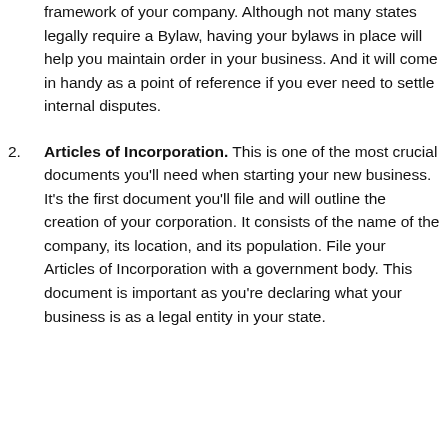framework of your company. Although not many states legally require a Bylaw, having your bylaws in place will help you maintain order in your business. And it will come in handy as a point of reference if you ever need to settle internal disputes.
2. Articles of Incorporation. This is one of the most crucial documents you'll need when starting your new business. It's the first document you'll file and will outline the creation of your corporation. It consists of the name of the company, its location, and its population. File your Articles of Incorporation with a government body. This document is important as you're declaring what your business is as a legal entity in your state.